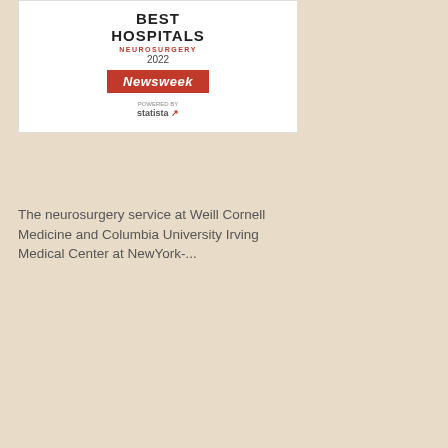[Figure (illustration): Award badge showing 'BEST HOSPITALS NEUROSURGERY 2022' with Newsweek logo and Statista logo]
The neurosurgery service at Weill Cornell Medicine and Columbia University Irving Medical Center at NewYork-...
Reviewed by: Theodore Schwartz...
Last reviewed/last updated: Septe...
Illustration by Thom Graves, CMI
Symptoms of a Craniopharyngio...
Diagnosing and Treating a Cranio...
Surgery for a Craniopharyngioma...
Doctors Who Treat Craniopharyn...
Craniopharyngioma References ...